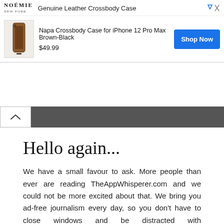[Figure (screenshot): Advertisement banner for NOÉMIE Genuine Leather Crossbody Case. Shows brand logo 'NOÉMIE', tagline 'Genuine Leather Crossbody Case', product image of brown-black leather phone case, product name 'Napa Crossbody Case for iPhone 12 Pro Max Brown-Black', price '$49.99', and a blue 'Shop Now' button.]
[Figure (screenshot): UI collapse/minimize bar with a chevron-up arrow on white background on the left and a dark gray bar extending to the right.]
Hello again...
We have a small favour to ask. More people than ever are reading TheAppWhisperer.com and we could not be more excited about that. We bring you ad-free journalism every day, so you don't have to close windows and be distracted with advertisements. We specialise in mobile photography and mobile art and we value all of our readers, writers,